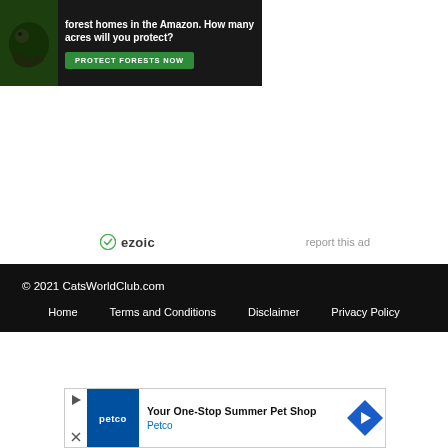[Figure (illustration): Advertisement banner showing forest/Amazon environment with gorilla, headline 'forest homes in the Amazon. How many acres will you protect?' and a green 'PROTECT FORESTS NOW' button]
ezoic   report this ad
© 2021 CatsWorldClub.com
Home   Terms and Conditions   Disclaimer   Privacy Policy
[Figure (illustration): Petco advertisement: 'Your One-Stop Summer Pet Shop' with Petco logo on blue background and blue diamond arrow icon]